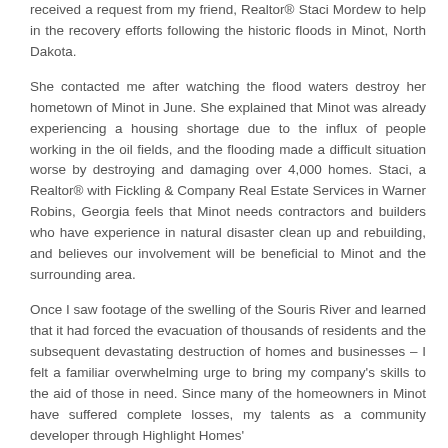received a request from my friend, Realtor® Staci Mordew to help in the recovery efforts following the historic floods in Minot, North Dakota.
She contacted me after watching the flood waters destroy her hometown of Minot in June. She explained that Minot was already experiencing a housing shortage due to the influx of people working in the oil fields, and the flooding made a difficult situation worse by destroying and damaging over 4,000 homes. Staci, a Realtor® with Fickling & Company Real Estate Services in Warner Robins, Georgia feels that Minot needs contractors and builders who have experience in natural disaster clean up and rebuilding, and believes our involvement will be beneficial to Minot and the surrounding area.
Once I saw footage of the swelling of the Souris River and learned that it had forced the evacuation of thousands of residents and the subsequent devastating destruction of homes and businesses – I felt a familiar overwhelming urge to bring my company's skills to the aid of those in need. Since many of the homeowners in Minot have suffered complete losses, my talents as a community developer through Highlight Homes'